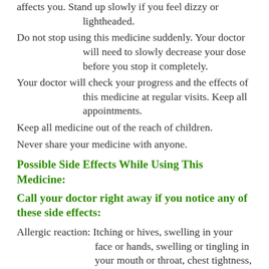affects you. Stand up slowly if you feel dizzy or lightheaded.
Do not stop using this medicine suddenly. Your doctor will need to slowly decrease your dose before you stop it completely.
Your doctor will check your progress and the effects of this medicine at regular visits. Keep all appointments.
Keep all medicine out of the reach of children.
Never share your medicine with anyone.
Possible Side Effects While Using This Medicine:
Call your doctor right away if you notice any of these side effects:
Allergic reaction: Itching or hives, swelling in your face or hands, swelling or tingling in your mouth or throat, chest tightness, trouble breathing
Confusion, unusual changes in mood or behaviors, behaviors you cannot control
Extreme sleepiness or drowsiness
Fever, muscle pain, stiffness, tenderness, or